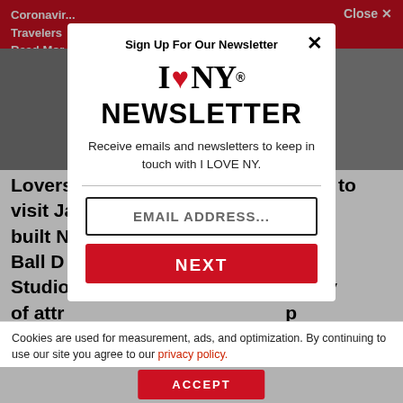Coronavirus
Travelers
Read Mor...
Lovers ... point to visit Ja... built N... ille Ball D... Studio... plenty of attr... p
[Figure (screenshot): Modal popup for I LOVE NY newsletter signup overlay on website]
Sign Up For Our Newsletter
[Figure (logo): I LOVE NY logo with red heart]
NEWSLETTER
Receive emails and newsletters to keep in touch with I LOVE NY.
EMAIL ADDRESS...
NEXT
Cookies are used for measurement, ads, and optimization. By continuing to use our site you agree to our privacy policy.
ACCEPT